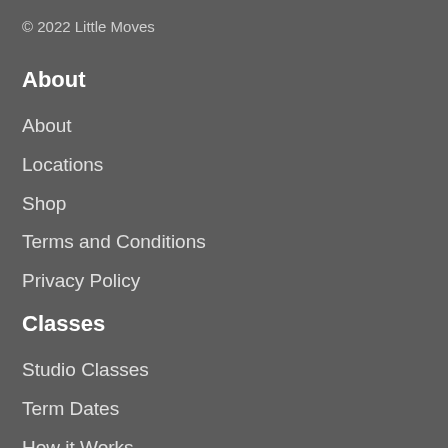© 2022 Little Moves
About
About
Locations
Shop
Terms and Conditions
Privacy Policy
Classes
Studio Classes
Term Dates
How it Works
Class Procedures
Sample Lesson
School Classes